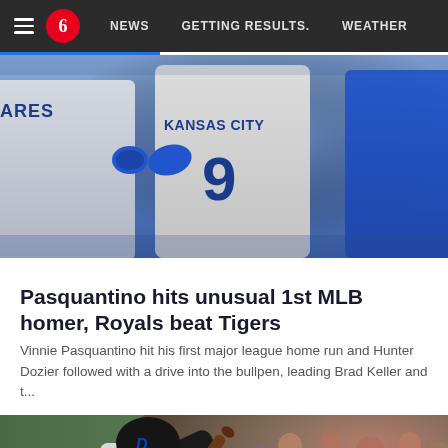NEWS  GETTING RESULTS.  WEATHER
[Figure (photo): Kansas City Royals players celebrating, player wearing #9 jersey with 'KANSAS CITY' text visible, player on left with 'ARES' visible on jersey]
Pasquantino hits unusual 1st MLB homer, Royals beat Tigers
Vinnie Pasquantino hit his first major league home run and Hunter Dozier followed with a drive into the bullpen, leading Brad Keller and t...
[Figure (photo): Detroit Tigers batter swinging, wearing black helmet with D logo and gray uniform, crowd visible in background]